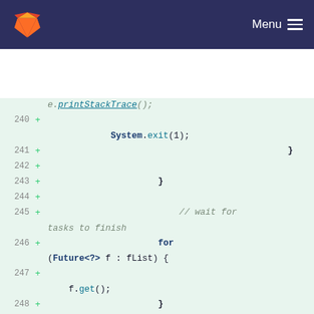GitLab navigation header with logo and Menu
[Figure (screenshot): GitLab code diff view showing Java source code lines 240-253 with added lines (marked with +) on a light green background. Lines show: e.printStackTrace(); System.exit(1); closing braces, a comment '// wait for tasks to finish', a for loop 'for (Future<?> f : fList) {', f.get();, closing brace, blank lines, fList.clear();, closing brace, blank lines, and the beginning of sceneQueue.add(FINAL_SCENE)]